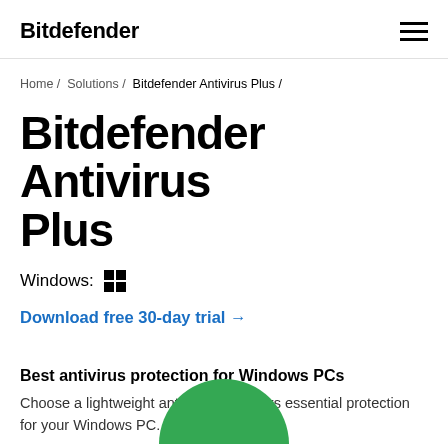Bitdefender
Home / Solutions / Bitdefender Antivirus Plus /
Bitdefender Antivirus Plus
Windows:
Download free 30-day trial →
Best antivirus protection for Windows PCs
Choose a lightweight antivirus that offers essential protection for your Windows PC.
[Figure (illustration): Green circle arc partially visible at the bottom center of the page]